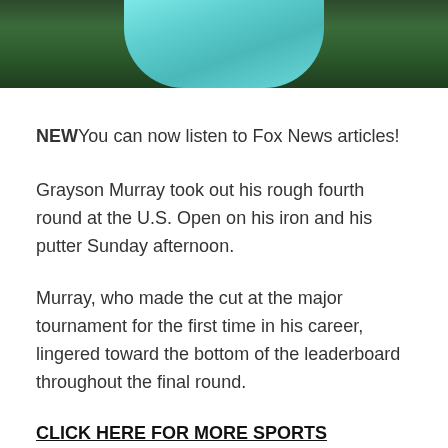[Figure (photo): Partial photo showing a golfer wearing a teal/turquoise shirt against a dark green background]
NEWYou can now listen to Fox News articles!
Grayson Murray took out his rough fourth round at the U.S. Open on his iron and his putter Sunday afternoon.
Murray, who made the cut at the major tournament for the first time in his career, lingered toward the bottom of the leaderboard throughout the final round.
CLICK HERE FOR MORE SPORTS COVERAGE ON FOXNEWS.COM
Grayson Murray of the United States plays his